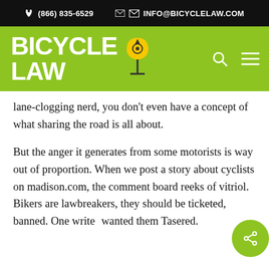(866) 835-6529   INFO@BICYCLELAW.COM
[Figure (logo): Bicycle Law logo with green background, white bold text reading BICYCLE LAW and a bicycle helmet icon. Search and hamburger menu icons on right.]
lane-clogging nerd, you don't even have a concept of what sharing the road is all about.
But the anger it generates from some motorists is way out of proportion. When we post a story about cyclists on madison.com, the comment board reeks of vitriol. Bikers are lawbreakers, they should be ticketed, banned. One writer wanted them Tasered.